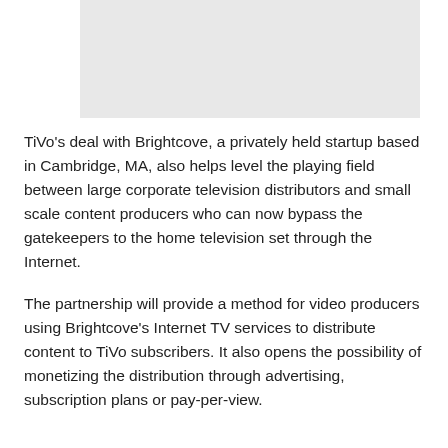[Figure (other): Gray placeholder image/screenshot at top of page]
TiVo's deal with Brightcove, a privately held startup based in Cambridge, MA, also helps level the playing field between large corporate television distributors and small scale content producers who can now bypass the gatekeepers to the home television set through the Internet.
The partnership will provide a method for video producers using Brightcove's Internet TV services to distribute content to TiVo subscribers. It also opens the possibility of monetizing the distribution through advertising, subscription plans or pay-per-view.